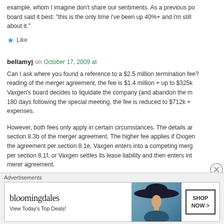example, whom I imagine don't share our sentiments. As a previous post on board said it best: "this is the only time i've been up 40%+ and i'm still about it."
Like
bellamyj on October 17, 2009 at
Can I ask where you found a reference to a $2.5 million termination fee? My reading of the merger agreement, the fee is $1.4 million + up to $325k if Vaxgen's board decides to liquidate the company (and abandon the merger). If 180 days following the special meeting, the fee is reduced to $712k + expenses.
However, both fees only apply in certain circumstances. The details are in section 8.3b of the merger agreement. The higher fee applies if Oxigen cancels the agreement per section 8.1e, Vaxgen enters into a competing merger agreement per section 8.1f, or Vaxgen settles its lease liability and then enters into a merer agreement.
[Figure (other): Bloomingdale's advertisement banner with 'View Today's Top Deals!' tagline and Shop Now button]
Advertisements